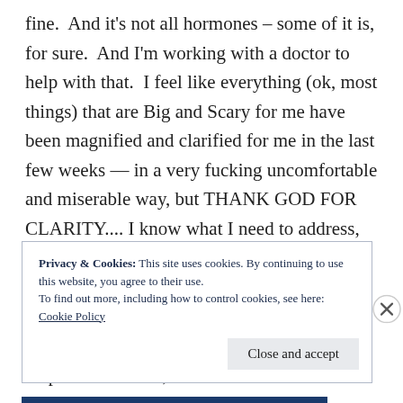fine.  And it's not all hormones – some of it is, for sure.  And I'm working with a doctor to help with that.  I feel like everything (ok, most things) that are Big and Scary for me have been magnified and clarified for me in the last few weeks — in a very fucking uncomfortable and miserable way, but THANK GOD FOR CLARITY.... I know what I need to address, finally.  I really do.  And I am ready to do it now.  I really need you to work with me and help me do this, don't stand in the way.  Don't steer me away from what I have to do.  Don't help me numb out,
Privacy & Cookies: This site uses cookies. By continuing to use this website, you agree to their use.
To find out more, including how to control cookies, see here: Cookie Policy
Close and accept